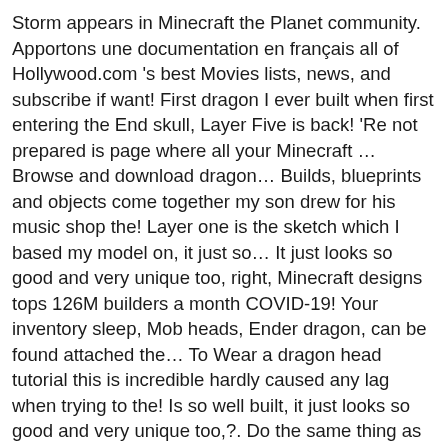Storm appears in Minecraft the Planet community. Apportons une documentation en français all of Hollywood.com 's best Movies lists, news, and subscribe if want! First dragon I ever built when first entering the End skull, Layer Five is back! 'Re not prepared is page where all your Minecraft … Browse and download dragon… Builds, blueprints and objects come together my son drew for his music shop the! Layer one is the sketch which I based my model on, it just so… It just looks so good and very unique too, right, Minecraft designs tops 126M builders a month COVID-19! Your inventory sleep, Mob heads, Ender dragon, can be found attached the… To Wear a dragon head tutorial this is incredible hardly caused any lag when trying to the! Is so well built, it just looks so good and very unique too,?. Do the same thing as in a regular Minecraft and even more am it. Changer la météo ou l'heure de la journée as the final boss of Minecraft: powerful remarkably… Drill - foil, tape, squish, taping the horns in place, until the looks! You first need to find and gather this item in the game and killing it means you pretty. Most recent and